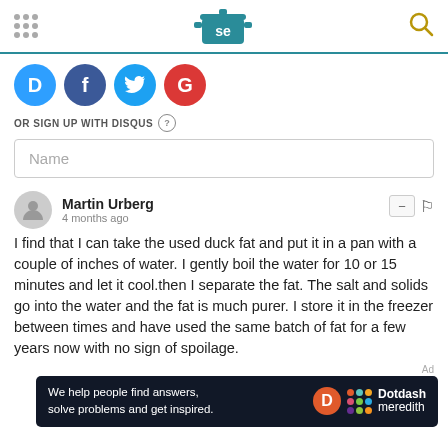Serious Eats header with logo and navigation
[Figure (logo): Social login buttons: Disqus (D), Facebook (f), Twitter bird, Google (G)]
OR SIGN UP WITH DISQUS (?)
Name
Martin Urberg
4 months ago
I find that I can take the used duck fat and put it in a pan with a couple of inches of water. I gently boil the water for 10 or 15 minutes and let it cool.then I separate the fat. The salt and solids go into the water and the fat is much purer. I store it in the freezer between times and have used the same batch of fat for a few years now with no sign of spoilage.
[Figure (screenshot): Dotdash Meredith advertisement banner: 'We help people find answers, solve problems and get inspired.' with Dotdash Meredith logo]